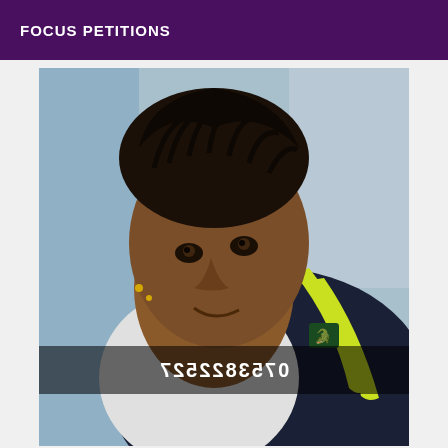FOCUS PETITIONS
[Figure (photo): A young man with braided/twisted hair wearing a white and dark navy Lacoste shirt with yellow/neon green stripes, lying back looking at the camera. A mirrored phone number overlay reads 0753822527 at the bottom of the photo.]
0753822527 (mirrored/reflected text shown as: LS8SS8ESʟ0)